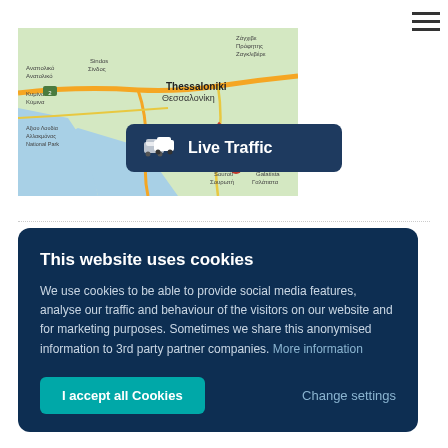[Figure (map): Map showing Thessaloniki (Θεσσαλονίκη) area in Greece with surrounding regions including Sindos, Axiou Loudias, Kalochori, Peraia, Souroti, Galatista. Roads shown in orange/yellow. Contains a 'Live Traffic' button overlay with car icon on dark navy background.]
This website uses cookies
We use cookies to be able to provide social media features, analyse our traffic and behaviour of the visitors on our website and for marketing purposes. Sometimes we share this anonymised information to 3rd party partner companies. More information
I accept all Cookies
Change settings